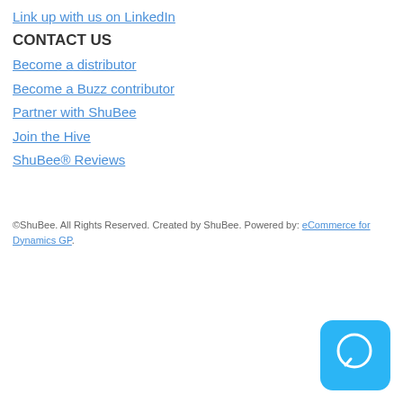Link up with us on LinkedIn
CONTACT US
Become a distributor
Become a Buzz contributor
Partner with ShuBee
Join the Hive
ShuBee® Reviews
©ShuBee. All Rights Reserved. Created by ShuBee. Powered by: eCommerce for Dynamics GP.
[Figure (illustration): Blue rounded square chat bubble icon]